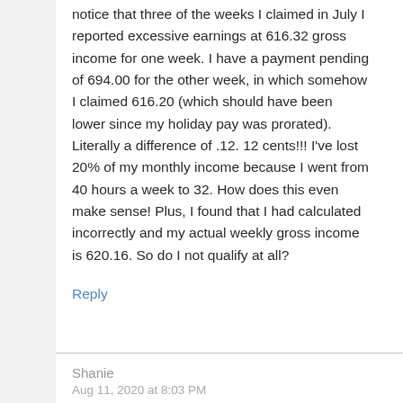notice that three of the weeks I claimed in July I reported excessive earnings at 616.32 gross income for one week. I have a payment pending of 694.00 for the other week, in which somehow I claimed 616.20 (which should have been lower since my holiday pay was prorated). Literally a difference of .12. 12 cents!!! I've lost 20% of my monthly income because I went from 40 hours a week to 32. How does this even make sense! Plus, I found that I had calculated incorrectly and my actual weekly gross income is 620.16. So do I not qualify at all?
Reply
Shanie
Aug 11, 2020 at 8:03 PM